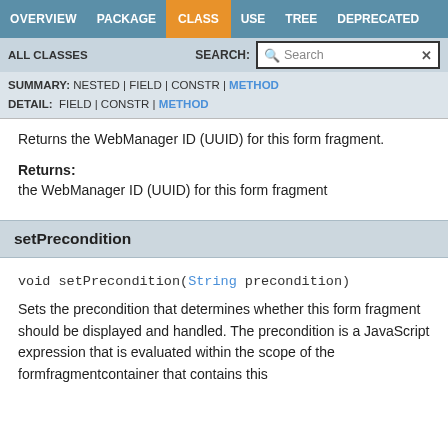OVERVIEW | PACKAGE | CLASS | USE | TREE | DEPRECATED
ALL CLASSES | SEARCH:
SUMMARY: NESTED | FIELD | CONSTR | METHOD
DETAIL: FIELD | CONSTR | METHOD
Returns the WebManager ID (UUID) for this form fragment.
Returns:
the WebManager ID (UUID) for this form fragment
setPrecondition
void setPrecondition(String precondition)
Sets the precondition that determines whether this form fragment should be displayed and handled. The precondition is a JavaScript expression that is evaluated within the scope of the formfragmentcontainer that contains this